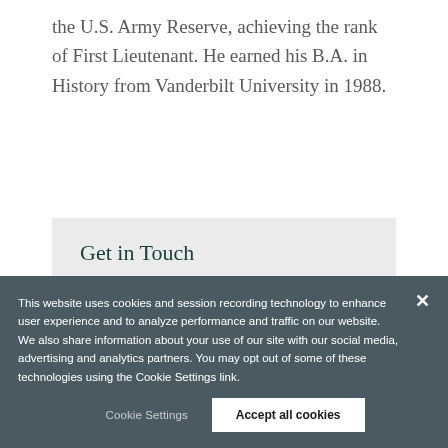the U.S. Army Reserve, achieving the rank of First Lieutenant. He earned his B.A. in History from Vanderbilt University in 1988.
Get in Touch
Kris Hudson
This website uses cookies and session recording technology to enhance user experience and to analyze performance and traffic on our website. We also share information about your use of our site with our social media, advertising and analytics partners. You may opt out of some of these technologies using the Cookie Settings link.
Cookie Settings
Accept all cookies